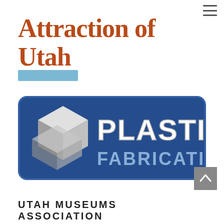≡
Attraction of Utah
[Figure (other): Light blue horizontal bar/banner element]
[Figure (logo): Plastic Fabricating company logo — dark blue rounded rectangle background with a 3D geometric cube/diamond shape in silver/grey on the left, and the text 'PLASTIC FABRICATING' in large white bold letters on the right]
[Figure (other): Grey scroll-to-top button with upward chevron arrow]
UTAH MUSEUMS ASSOCIATION